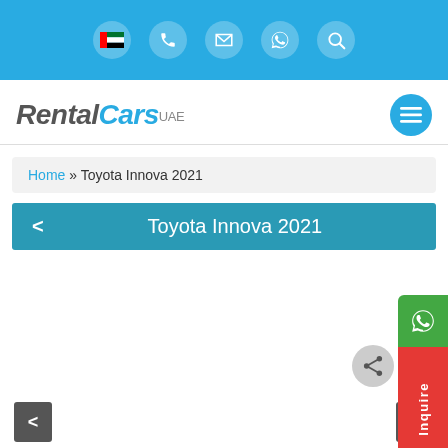Top navigation bar with UAE flag, phone, email, WhatsApp, search icons
[Figure (logo): RentalCars UAE logo with menu button]
Home » Toyota Innova 2021
< Toyota Innova 2021